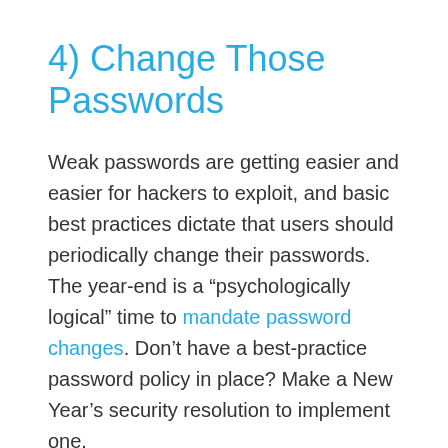4) Change Those Passwords
Weak passwords are getting easier and easier for hackers to exploit, and basic best practices dictate that users should periodically change their passwords. The year-end is a “psychologically logical” time to mandate password changes. Don’t have a best-practice password policy in place? Make a New Year’s security resolution to implement one.
5) Test Your Backup Procedures